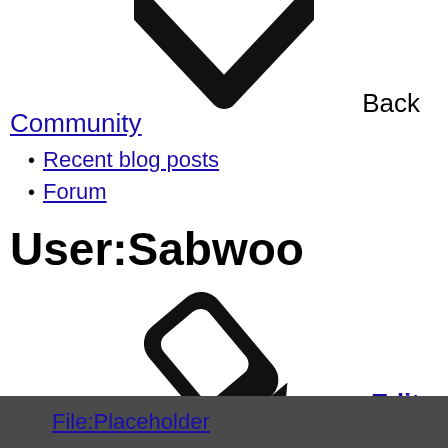[Figure (illustration): Large chevron/down-arrow icon in black at top of page]
Back
Community
Recent blog posts
Forum
User:Sabwoo
[Figure (illustration): Large pencil/edit icon in black]
Edit
File:Placeholder